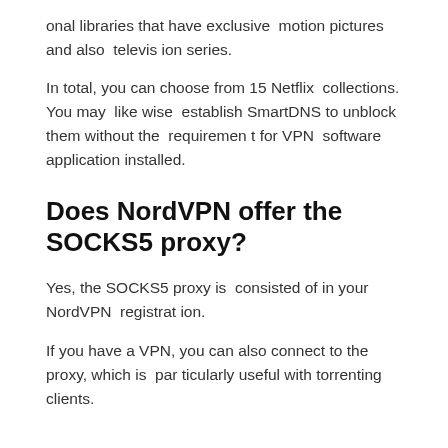onal libraries that have exclusive motion pictures and also television series.
In total, you can choose from 15 Netflix collections. You may likewise establish SmartDNS to unblock them without the requirement for VPN software application installed.
Does NordVPN offer the SOCKS5 proxy?
Yes, the SOCKS5 proxy is consisted of in your NordVPN registration.
If you have a VPN, you can also connect to the proxy, which is particularly useful with torrenting clients.